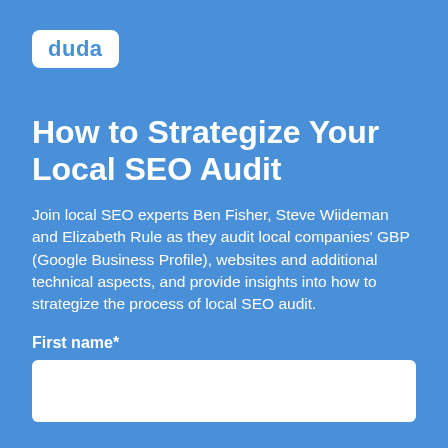[Figure (logo): Duda logo: white rounded rectangle with blue 'duda' text inside]
How to Strategize Your Local SEO Audit
Join local SEO experts Ben Fisher, Steve Wiideman and Elizabeth Rule as they audit local companies' GBP (Google Business Profile), websites and additional technical aspects, and provide insights into how to strategize the process of local SEO audit.
First name*
[Figure (other): Empty white input field for first name]